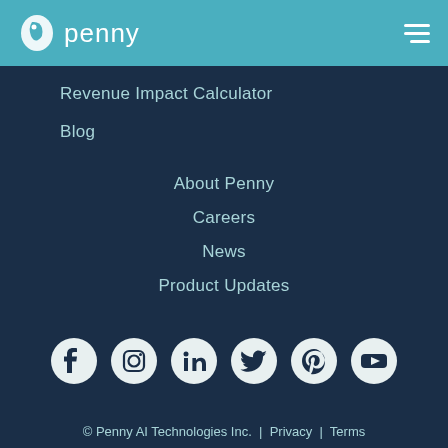penny
Revenue Impact Calculator
Blog
About Penny
Careers
News
Product Updates
[Figure (other): Social media icons: Facebook, Instagram, LinkedIn, Twitter, Pinterest, YouTube]
© Penny AI Technologies Inc. | Privacy | Terms